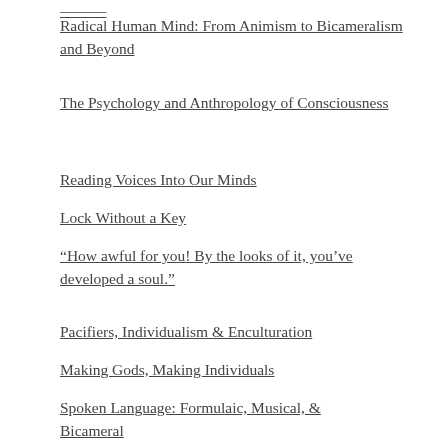Radical Human Mind: From Animism to Bicameralism and Beyond
The Psychology and Anthropology of Consciousness
Reading Voices Into Our Minds
Lock Without a Key
“How awful for you! By the looks of it, you’ve developed a soul.”
Pacifiers, Individualism & Enculturation
Making Gods, Making Individuals
Spoken Language: Formulaic, Musical, & Bicameral
Music and Dance on the Mind
The Group Conformity of Hyper-Individualism